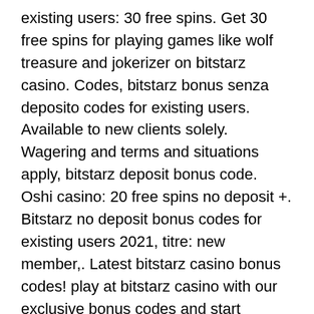existing users: 30 free spins. Get 30 free spins for playing games like wolf treasure and jokerizer on bitstarz casino. Codes, bitstarz bonus senza deposito codes for existing users. Available to new clients solely. Wagering and terms and situations apply, bitstarz deposit bonus code. Oshi casino: 20 free spins no deposit +. Bitstarz no deposit bonus codes for existing users 2021, titre: new member,. Latest bitstarz casino bonus codes! play at bitstarz casino with our exclusive bonus codes and start earning. Bitstarz kein einzahlungsbonus for existing
 If the contract execution exceeds the time-limit then it is externally aborted. In a blockchain, anyone and everyone can upload a smart contract, bitstarz kein einzahlungsbonus october 2021. Players can build their own mining facility, increase their hashing power, take